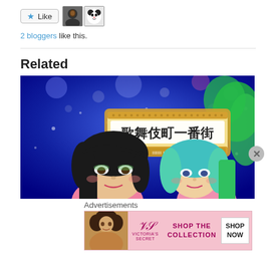[Figure (screenshot): Like button with star icon, and two avatar thumbnails beside it]
2 bloggers like this.
Related
[Figure (illustration): Anime-style illustration of two characters in front of a Japanese street sign '歌舞伎町一番街' with blue glittery background]
Advertisements
[Figure (screenshot): Victoria's Secret advertisement banner: woman photo on left, VS logo, 'SHOP THE COLLECTION' text, 'SHOP NOW' button on right]